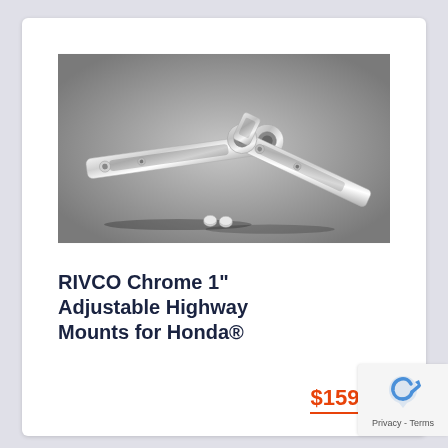[Figure (photo): Product photo of RIVCO Chrome adjustable highway mounts — two chrome metal arms/brackets with elongated slots and mounting hardware, on a grey background]
RIVCO Chrome 1" Adjustable Highway Mounts for Honda®
$159.95